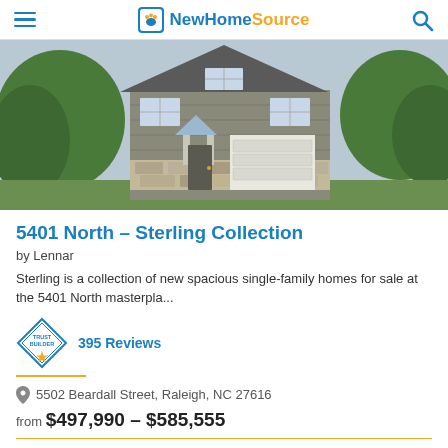NewHomeSource
[Figure (photo): Exterior photo of a two-story single-family home with gray siding, stone accents, a white garage door, and green trees in the background.]
5401 North – Sterling Collection
by Lennar
Sterling is a collection of new spacious single-family homes for sale at the 5401 North masterpla...
395 Reviews
5502 Beardall Street, Raleigh, NC 27616
from $497,990 - $585,555
4-5 Beds | 3 Baths | 1 Homes
Get Brochure